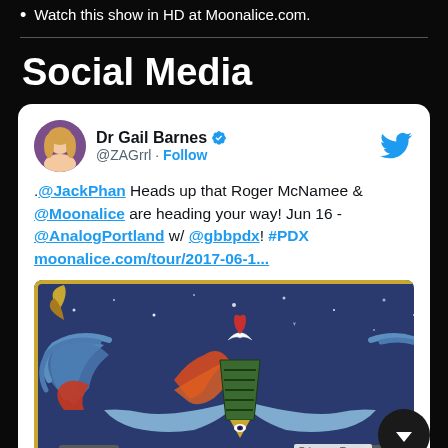Watch this show in HD at Moonalice.com.
Social Media
[Figure (screenshot): Tweet from Dr Gail Barnes (@ZAGrrl) with verified badge and Follow button. Tweet text: .@JackPhan Heads up that Roger McNamee & @Moonalice are heading your way! Jun 16 - @AnalogPortland w/ @gbbpdx! #PDX moonalice.com/tour/2017-06-1... Below the tweet is an embedded image of a Moonalice scarab/eagle poster artwork with Egyptian motifs, a heart and moon symbol, wings, and an all-seeing eye on a triangle, set against a starry night sky.]